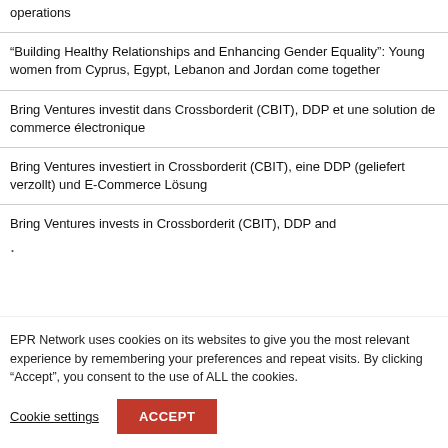operations
“Building Healthy Relationships and Enhancing Gender Equality”: Young women from Cyprus, Egypt, Lebanon and Jordan come together
Bring Ventures investit dans Crossborderit (CBIT), DDP et une solution de commerce électronique
Bring Ventures investiert in Crossborderit (CBIT), eine DDP (geliefert verzollt) und E-Commerce Lösung
Bring Ventures invests in Crossborderit (CBIT), DDP and .
EPR Network uses cookies on its websites to give you the most relevant experience by remembering your preferences and repeat visits. By clicking “Accept”, you consent to the use of ALL the cookies.
Cookie settings   ACCEPT